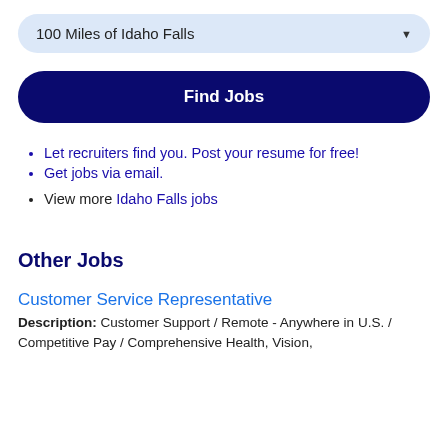100 Miles of Idaho Falls
Find Jobs
Let recruiters find you. Post your resume for free!
Get jobs via email.
View more Idaho Falls jobs
Other Jobs
Customer Service Representative
Description: Customer Support / Remote - Anywhere in U.S. / Competitive Pay / Comprehensive Health, Vision,